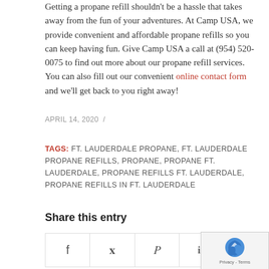Getting a propane refill shouldn't be a hassle that takes away from the fun of your adventures. At Camp USA, we provide convenient and affordable propane refills so you can keep having fun. Give Camp USA a call at (954) 520-0075 to find out more about our propane refill services. You can also fill out our convenient online contact form and we'll get back to you right away!
APRIL 14, 2020 /
TAGS: FT. LAUDERDALE PROPANE, FT. LAUDERDALE PROPANE REFILLS, PROPANE, PROPANE FT. LAUDERDALE, PROPANE REFILLS FT. LAUDERDALE, PROPANE REFILLS IN FT. LAUDERDALE
Share this entry